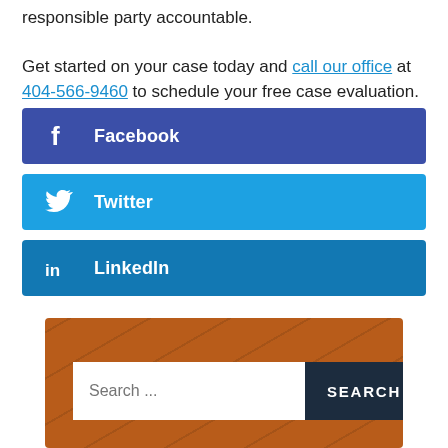responsible party accountable. Get started on your case today and call our office at 404-566-9460 to schedule your free case evaluation.
Facebook
Twitter
LinkedIn
[Figure (screenshot): Search bar on a brown/russet background with a text input field showing 'Search ...' placeholder and a dark navy 'SEARCH' button]